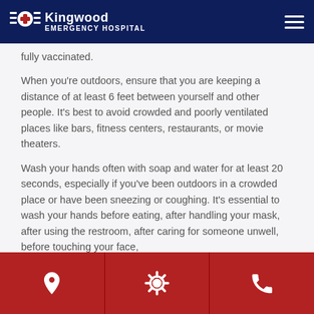Kingwood EMERGENCY HOSPITAL
fully vaccinated.
When you're outdoors, ensure that you are keeping a distance of at least 6 feet between yourself and other people. It's best to avoid crowded and poorly ventilated places like bars, fitness centers, restaurants, or movie theaters.
Wash your hands often with soap and water for at least 20 seconds, especially if you've been outdoors in a crowded place or have been sneezing or coughing. It's essential to wash your hands before eating, after handling your mask, after using the restroom, after caring for someone unwell, before touching your face, etc.
[Location icon] [Settings/COVID icon] [Phone icon]